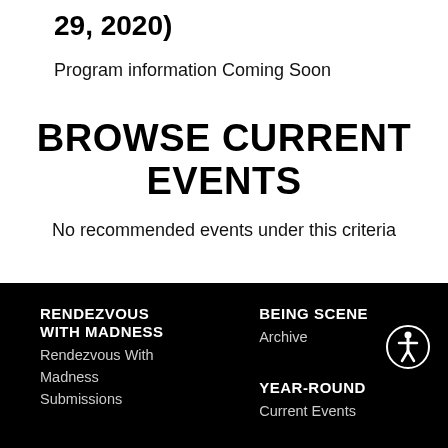29, 2020)
Program information Coming Soon
BROWSE CURRENT EVENTS
No recommended events under this criteria
RENDEZVOUS WITH MADNESS
Rendezvous With Madness
Submissions

BEING SCENE
Archive

YEAR-ROUND
Current Events